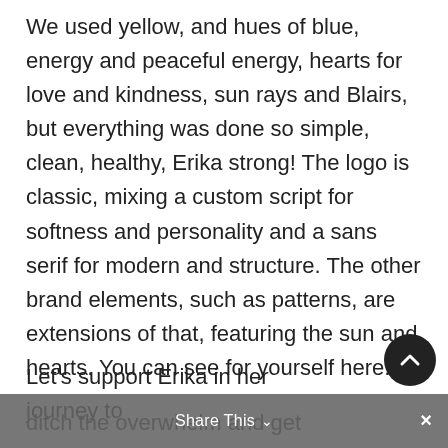We used yellow, and hues of blue, energy and peaceful energy, hearts for love and kindness, sun rays and Blairs, but everything was done so simple, clean, healthy, Erika strong! The logo is classic, mixing a custom script for softness and personality and a sans serif for modern and structure. The other brand elements, such as patterns, are extensions of that, featuring the sun and hearts. You can see for yourself here.
Let's support Erika in her journey to ditch the overwhelm and get centered, toned and strong with a...
Share This